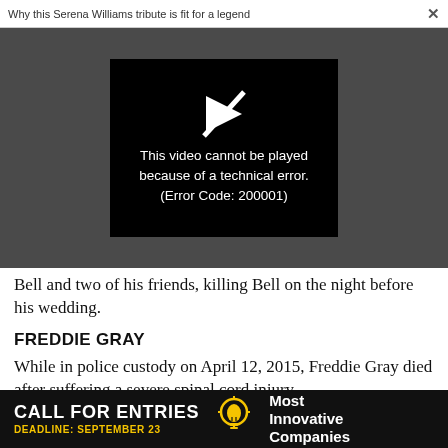Why this Serena Williams tribute is fit for a legend   ×
[Figure (screenshot): Video player showing error message on dark gray background. Black video frame contains a play button icon with a diagonal slash through it, and white text reading: This video cannot be played because of a technical error. (Error Code: 200001)]
Bell and two of his friends, killing Bell on the night before his wedding.
FREDDIE GRAY
While in police custody on April 12, 2015, Freddie Gray died after suffering a severe spinal cord injury...
[Figure (other): Advertisement banner: CALL FOR ENTRIES DEADLINE: SEPTEMBER 23 [lightbulb icon] Most Innovative Companies]